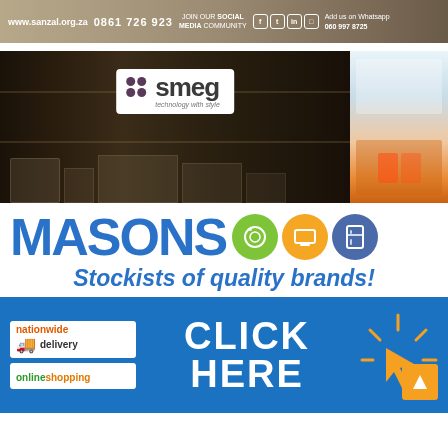[Figure (infographic): SANZAL banner with website www.sanzal.org.za, phone 0861 726 923, JOIN OUR SOCIAL MEDIA COMMUNITY text, social media icons, and WhatsApp 060 997 8725]
[Figure (photo): Smeg kitchen appliances showroom display with smeg logo and 'technology with style' tagline, showing ovens and kitchen appliances in sepia tone with a color side panel]
[Figure (infographic): MASONS brand logo in large bold blue text with three circular icons: green washing machine icon, orange laptop/TV icon, blue appliance icon]
Stockists of quality brands!
[Figure (infographic): Blue banner with nationwide delivery logo, online shopping logo on the left, CLICK HERE text in center, and cursor/click graphic with orange square arrow button on right]